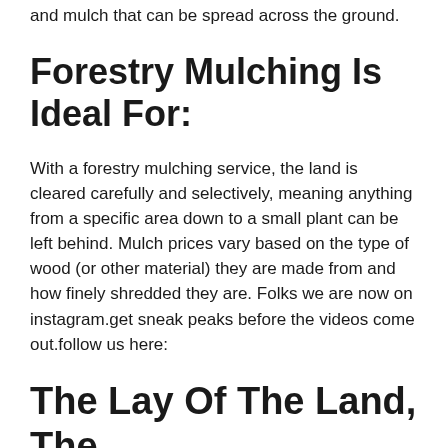and mulch that can be spread across the ground.
Forestry Mulching Is Ideal For:
With a forestry mulching service, the land is cleared carefully and selectively, meaning anything from a specific area down to a small plant can be left behind. Mulch prices vary based on the type of wood (or other material) they are made from and how finely shredded they are. Folks we are now on instagram.get sneak peaks before the videos come out.follow us here:
The Lay Of The Land, The